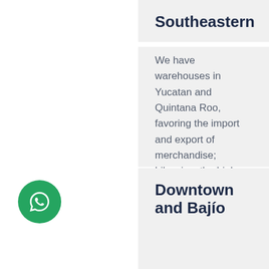Southeastern
We have warehouses in Yucatan and Quintana Roo, favoring the import and export of merchandise; Likewise, the high demand for products in the main tourist area of Mexico is met.
[Figure (logo): WhatsApp button icon — green circle with white WhatsApp phone handset logo]
Downtown and Bajío